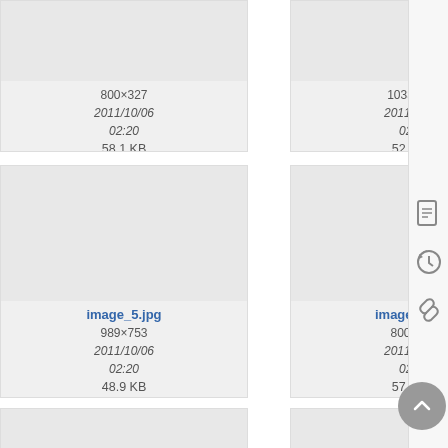[Figure (screenshot): File browser / media gallery screenshot showing image thumbnails in a grid layout with filenames, dimensions, dates, and file sizes. Partial top row shows two items cut off. Second row shows image_5.jpg (989×753, 2011/10/06 02:20, 48.9 KB) and image_5_o... (800×609, 2011/10/06 02:20, 57.4 KB). Third row shows image_6_o... (800×595, 2011/10/06 02:20) and image_7.jpg (1022×776, 2011/10/06 02:20). Sidebar with document, history, and link icons. Back-to-top FAB button.]